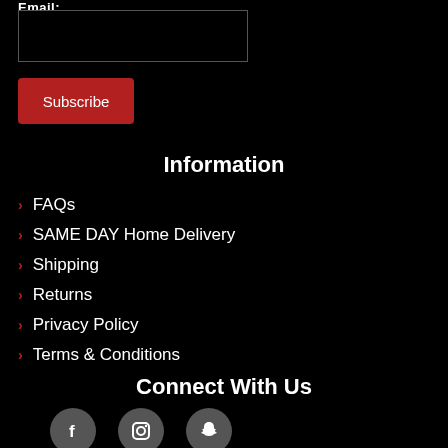Email:
Subscribe
Information
FAQs
SAME DAY Home Delivery
Shipping
Returns
Privacy Policy
Terms & Conditions
Connect With Us
[Figure (illustration): Three social media icons in dark grey circles: Facebook (f), Instagram (camera/square), Snapchat (ghost)]